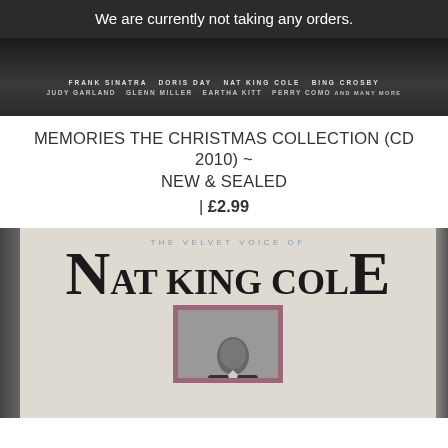We are currently not taking any orders.
[Figure (photo): Top portion of a Christmas music compilation CD showing artist names including Frank Sinatra, Doris Day, Nat King Cole, Bing Crosby, Judy Garland, Glenn Miller, Eartha Kitt, Perry Como and many more]
MEMORIES THE CHRISTMAS COLLECTION (CD 2010) ~ NEW & SEALED
| £2.99
[Figure (photo): CD case of 'The Velvet Voice of Nat King Cole' showing the cover art with large stylized text and a portrait photo of Nat King Cole]